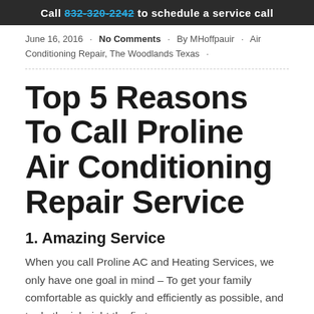Call 832-320-2242 to schedule a service call
June 16, 2016 · No Comments · By MHoffpauir · Air Conditioning Repair, The Woodlands Texas ·
Top 5 Reasons To Call Proline Air Conditioning Repair Service
1. Amazing Service
When you call Proline AC and Heating Services, we only have one goal in mind – To get your family comfortable as quickly and efficiently as possible, and to do the job right the first